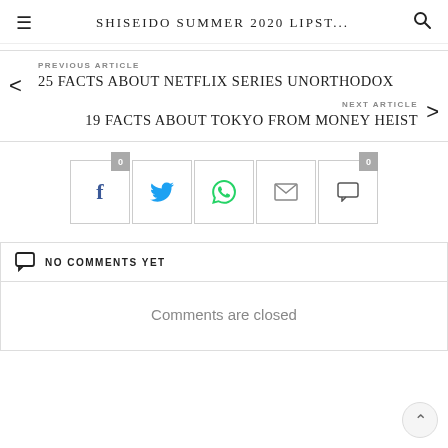SHISEIDO SUMMER 2020 LIPST...
PREVIOUS ARTICLE
25 FACTS ABOUT NETFLIX SERIES UNORTHODOX
NEXT ARTICLE
19 FACTS ABOUT TOKYO FROM MONEY HEIST
[Figure (infographic): Social share buttons row: Facebook (0), Twitter, WhatsApp, Email, Comments (0)]
NO COMMENTS YET
Comments are closed